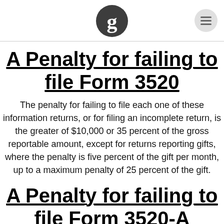Guardian logo and menu button
A Penalty for failing to file Form 3520
The penalty for failing to file each one of these information returns, or for filing an incomplete return, is the greater of $10,000 or 35 percent of the gross reportable amount, except for returns reporting gifts, where the penalty is five percent of the gift per month, up to a maximum penalty of 25 percent of the gift.
A Penalty for failing to file Form 3520-A